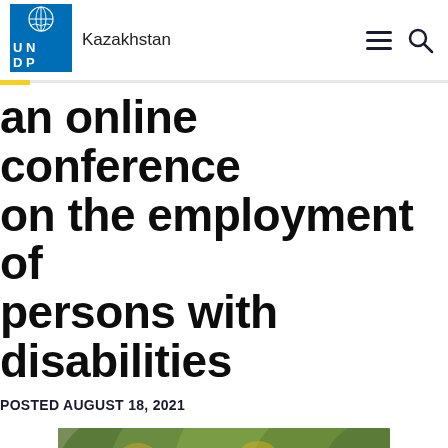Kazakhstan
an online conference on the employment of persons with disabilities
POSTED AUGUST 18, 2021
[Figure (photo): Two people outdoors on a tree-lined path, one wearing a blue vest and goggles, the other smiling, with autumn trees in the background.]